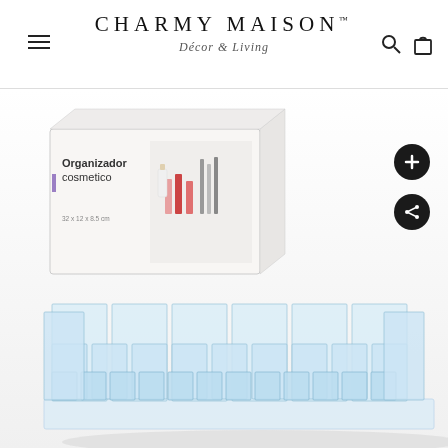[Figure (logo): Charmy Maison Décor & Living logo with hamburger menu icon on left and search/cart icons on right]
[Figure (photo): Product photo of a clear acrylic cosmetic organizer with multiple compartments, shown with its retail packaging box labeled 'Organizador cosmetico'. The box shows various makeup items. The acrylic organizer has tiered rows of small square compartments for lipsticks and cosmetics.]